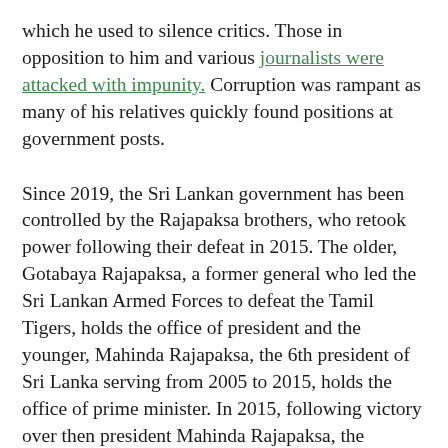which he used to silence critics. Those in opposition to him and various journalists were attacked with impunity. Corruption was rampant as many of his relatives quickly found positions at government posts.
Since 2019, the Sri Lankan government has been controlled by the Rajapaksa brothers, who retook power following their defeat in 2015. The older, Gotabaya Rajapaksa, a former general who led the Sri Lankan Armed Forces to defeat the Tamil Tigers, holds the office of president and the younger, Mahinda Rajapaksa, the 6th president of Sri Lanka serving from 2005 to 2015, holds the office of prime minister. In 2015, following victory over then president Mahinda Rajapaksa, the administration of the 7th president, Maithripala Sirisena, passed a constitutional amendment imposing a two-term limit on the presidency and revoked the president's immunity from prosecution. The chances for those amendments to be repealed and even more radical changes to the Sri Lankan government are higher than ever as the current administration